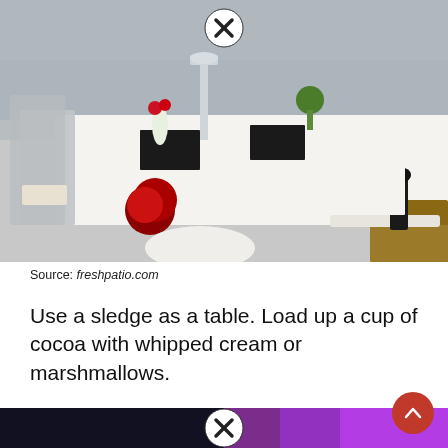[Figure (photo): Elegant outdoor winter table setting with white tablecloth, crystal candelabras, red floral arrangements, chiavari chairs, and a wicker bench in front. A close-up X/close button appears at the top center of the image.]
Source: freshpatio.com
Use a sledge as a table. Load up a cup of cocoa with whipped cream or marshmallows.
[Figure (photo): Partially visible bottom image showing a dark scene on the left and purple/pink hues on the right, with a close button (X circle) in the center.]